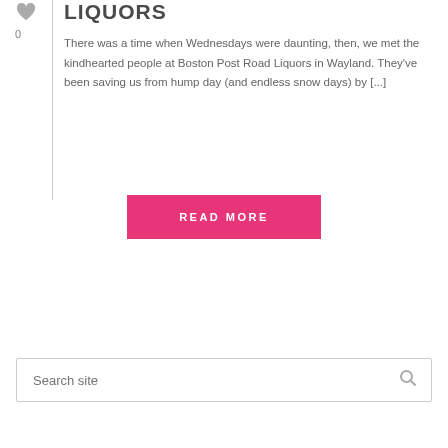[Figure (illustration): Gray heart/vote icon with vote count 0 below it]
LIQUORS
There was a time when Wednesdays were daunting, then, we met the kindhearted people at Boston Post Road Liquors in Wayland. They've been saving us from hump day (and endless snow days) by [...]
READ MORE
Search site